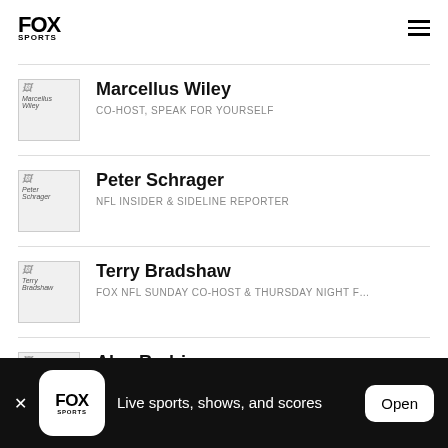FOX SPORTS
[Figure (photo): Marcellus Wiley thumbnail image (broken/loading)]
Marcellus Wiley
CO-HOST, SPEAK FOR YOURSELF
[Figure (photo): Peter Schrager thumbnail image (broken/loading)]
Peter Schrager
NFL INSIDER & SIDELINE REPORTER
[Figure (photo): Terry Bradshaw thumbnail image (broken/loading)]
Terry Bradshaw
FOX NFL SUNDAY CO-HOST & THURSDAY NIGHT FOOTBALL PREGAME A
[Figure (photo): Alex Rodriguez thumbnail image (broken/loading)]
Alex Rodriguez
FOX MLB STUDIO ANALYST
Live sports, shows, and scores
Open